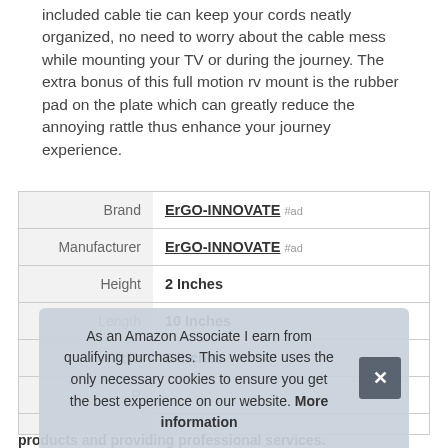included cable tie can keep your cords neatly organized, no need to worry about the cable mess while mounting your TV or during the journey. The extra bonus of this full motion rv mount is the rubber pad on the plate which can greatly reduce the annoying rattle thus enhance your journey experience.
|  |  |
| --- | --- |
| Brand | ErGO-INNOVATE #ad |
| Manufacturer | ErGO-INNOVATE #ad |
| Height | 2 Inches |
| Length | 10 Inches |
| Width | 8 Inches |
| P |  |
As an Amazon Associate I earn from qualifying purchases. This website uses the only necessary cookies to ensure you get the best experience on our website. More information
products and providing professional services.